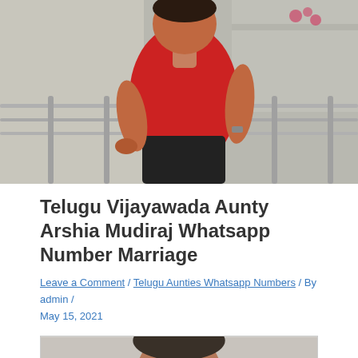[Figure (photo): A woman in a red top and black pants standing at a railing on a balcony or elevated area, with an outdoor scene in the background.]
Telugu Vijayawada Aunty Arshia Mudiraj Whatsapp Number Marriage
Leave a Comment / Telugu Aunties Whatsapp Numbers / By admin / May 15, 2021
[Figure (photo): A close-up photo of a woman's face with dark hair, partially cropped.]